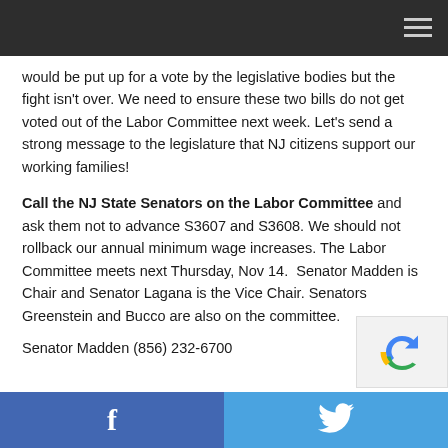would be put up for a vote by the legislative bodies but the fight isn't over. We need to ensure these two bills do not get voted out of the Labor Committee next week. Let’s send a strong message to the legislature that NJ citizens support our working families!
Call the NJ State Senators on the Labor Committee and ask them not to advance S3607 and S3608. We should not rollback our annual minimum wage increases. The Labor Committee meets next Thursday, Nov 14. Senator Madden is Chair and Senator Lagana is the Vice Chair. Senators Greenstein and Bucco are also on the committee.
Senator Madden (856) 232-6700